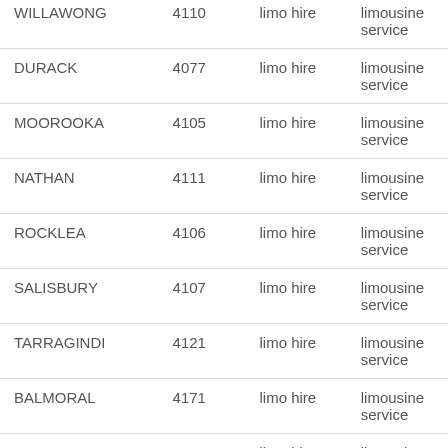| WILLAWONG | 4110 | limo hire | limousine service |
| DURACK | 4077 | limo hire | limousine service |
| MOOROOKA | 4105 | limo hire | limousine service |
| NATHAN | 4111 | limo hire | limousine service |
| ROCKLEA | 4106 | limo hire | limousine service |
| SALISBURY | 4107 | limo hire | limousine service |
| TARRAGINDI | 4121 | limo hire | limousine service |
| BALMORAL | 4171 | limo hire | limousine service |
| BULIMBA | 4171 | limo hire | limousine service |